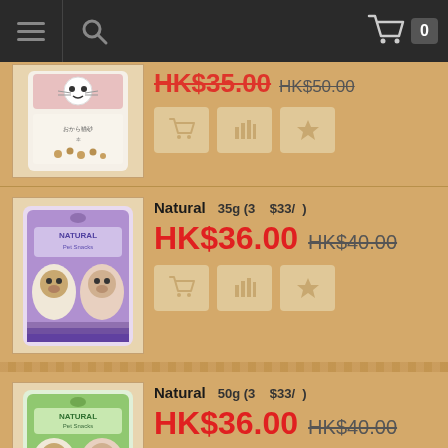Navigation bar with hamburger menu, search icon, and cart (0)
HK$35.00 (strikethrough: HK$50.00)
Natural   35g (3   $33/  )   HK$36.00  HK$40.00
Natural   50g (3   $33/  )   HK$36.00  HK$40.00